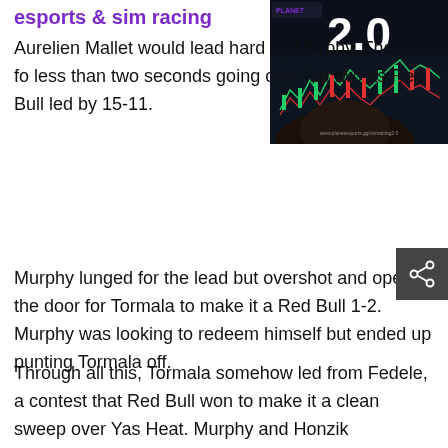esports & sim racing
[Figure (screenshot): Screenshot of a trading platform screen showing a stock chart with candlestick data and a large '2.0' overlay, with a person's silhouette visible in the foreground. Planet logo visible top left.]
Aurelien Mallet would lead hard by Murphy. The top fo less than two seconds going onto lap two as Red Bull led by 15-11.
Murphy lunged for the lead but overshot and opened the door for Tormala to make it a Red Bull 1-2. Murphy was looking to redeem himself but ended up punting Tormala off.
Through all this, Tormala somehow led from Fedele, a contest that Red Bull won to make it a clean sweep over Yas Heat. Murphy and Honzik